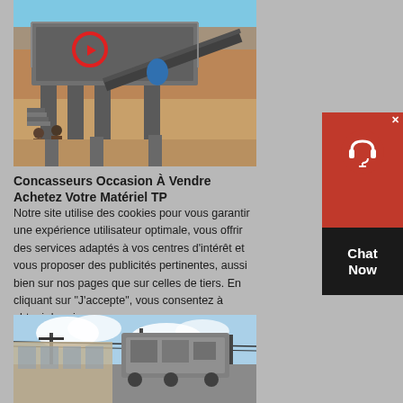[Figure (photo): Industrial stone crusher/screening machine on a construction site with red sandy soil background, featuring a red circle highlighting a component]
Concasseurs Occasion À Vendre Achetez Votre Matériel TP
Notre site utilise des cookies pour vous garantir une expérience utilisateur optimale, vous offrir des services adaptés à vos centres d'intérêt et vous proposer des publicités pertinentes, aussi bien sur nos pages que sur celles de tiers. En cliquant sur "J'accepte", vous consentez à obtenir le prix
[Figure (photo): Industrial crusher equipment on a city street with power lines and cloudy sky background]
[Figure (other): Chat Now customer support widget in red and black]